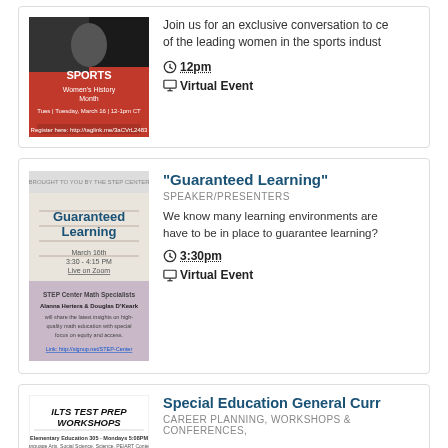[Figure (photo): Sports Women's History Month event flyer with red background]
Join us for an exclusive conversation to ce of the leading women in the sports indust
12pm
Virtual Event
[Figure (photo): Guaranteed Learning event flyer with blue text on light background]
"Guaranteed Learning"
SPEAKER/PRESENTERS
We know many learning environments are have to be in place to guarantee learning?
3:30pm
Virtual Event
[Figure (photo): ILTS TEST PREP WORKSHOPS flyer, Elementary Education 305]
Special Education General Curr
CAREER PLANNING, WORKSHOPS & CONFERENCES,